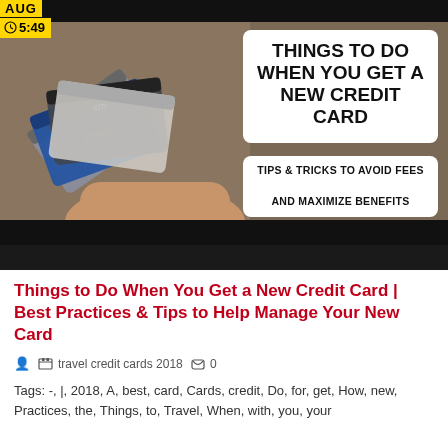[Figure (screenshot): Thumbnail image of a YouTube video showing a hand holding multiple credit cards (Chase, Citi, Freedom) on a wooden background. Overlaid white rounded-rectangle boxes contain the text 'THINGS TO DO WHEN YOU GET A NEW CREDIT CARD' and 'TIPS & TRICKS TO AVOID FEES AND MAXIMIZE BENEFITS'. A yellow badge in the top-left shows 'AUG' and a clock icon with '5:49'.]
Things to Do When You Get a New Credit Card | Best Practices & Tips to Help Manage Your New Card
travel credit cards 2018   0
Tags: -, |, 2018, A, best, card, Cards, credit, Do, for, get, How, new, Practices, the, Things, to, Travel, When, with, you, your